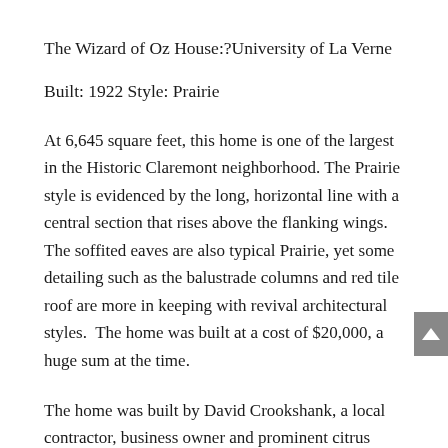The Wizard of Oz House:?University of La Verne
Built: 1922 Style: Prairie
At 6,645 square feet, this home is one of the largest in the Historic Claremont neighborhood. The Prairie style is evidenced by the long, horizontal line with a central section that rises above the flanking wings. The soffited eaves are also typical Prairie, yet some detailing such as the balustrade columns and red tile roof are more in keeping with revival architectural styles.  The home was built at a cost of $20,000, a huge sum at the time.
The home was built by David Crookshank, a local contractor, business owner and prominent citrus